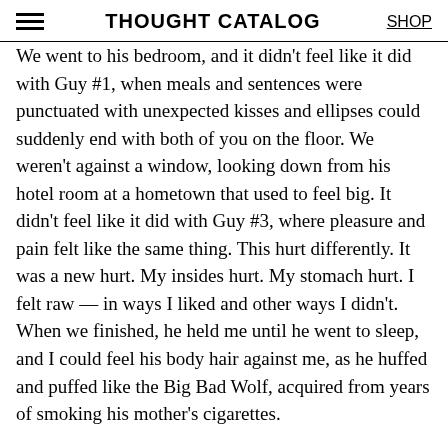THOUGHT CATALOG | SHOP
We went to his bedroom, and it didn't feel like it did with Guy #1, when meals and sentences were punctuated with unexpected kisses and ellipses could suddenly end with both of you on the floor. We weren't against a window, looking down from his hotel room at a hometown that used to feel big. It didn't feel like it did with Guy #3, where pleasure and pain felt like the same thing. This hurt differently. It was a new hurt. My insides hurt. My stomach hurt. I felt raw — in ways I liked and other ways I didn't. When we finished, he held me until he went to sleep, and I could feel his body hair against me, as he huffed and puffed like the Big Bad Wolf, acquired from years of smoking his mother's cigarettes.